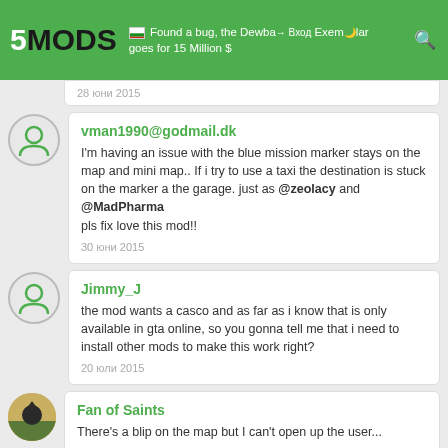5MODS | Found a bug, the Dewbauchee Exemplar goes for 15 Million $
28 юни 2015
vman1990@godmail.dk
I'm having an issue with the blue mission marker stays on the map and mini map.. If i try to use a taxi the destination is stuck on the marker a the garage. just as @zeolacy and @MadPharma
pls fix love this mod!!
30 юни 2015
Jimmy_J
the mod wants a casco and as far as i know that is only available in gta online, so you gonna tell me that i need to install other mods to make this work right?
20 юли 2015
Fan of Saints
There's a blip on the map but I can't open up the user...